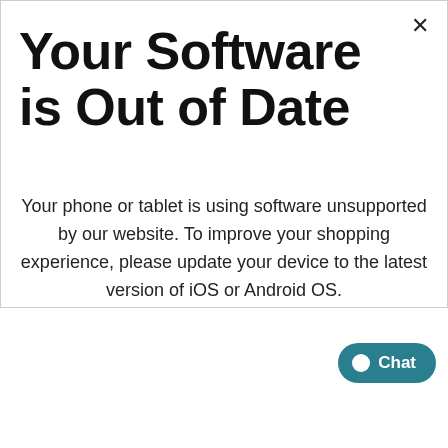Your Software is Out of Date
Your phone or tablet is using software unsupported by our website. To improve your shopping experience, please update your device to the latest version of iOS or Android OS.
WE ARE TEMPUR-PE...
When you shop at a Tempur-Pedic® Store you work directly with Tempur-Pedic® and you...